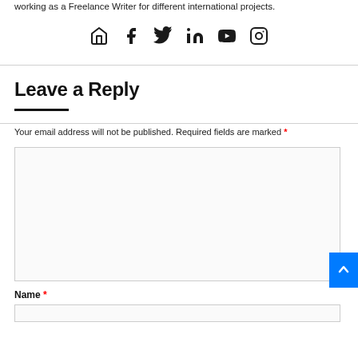working as a Freelance Writer for different international projects.
[Figure (other): Row of social media icons: home, Facebook, Twitter, LinkedIn, YouTube, Instagram]
Leave a Reply
Your email address will not be published. Required fields are marked *
[Figure (other): Large empty comment text area input box]
Name *
[Figure (other): Name text input field]